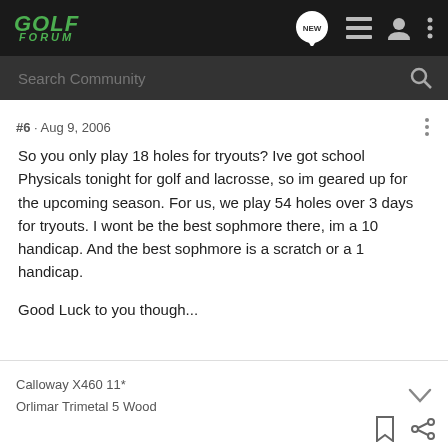GOLF FORUM
Search Community
#6 · Aug 9, 2006
So you only play 18 holes for tryouts? Ive got school Physicals tonight for golf and lacrosse, so im geared up for the upcoming season. For us, we play 54 holes over 3 days for tryouts. I wont be the best sophmore there, im a 10 handicap. And the best sophmore is a scratch or a 1 handicap.

Good Luck to you though...
Calloway X460 11*
Orlimar Trimetal 5 Wood